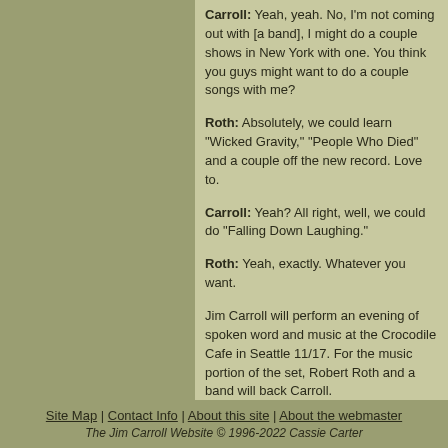Carroll: Yeah, yeah. No, I'm not coming out with [a band], I might do a couple shows in New York with one. You think you guys might want to do a couple songs with me?
Roth: Absolutely, we could learn "Wicked Gravity," "People Who Died" and a couple off the new record. Love to.
Carroll: Yeah? All right, well, we could do "Falling Down Laughing."
Roth: Yeah, exactly. Whatever you want.
Jim Carroll will perform an evening of spoken word and music at the Crocodile Cafe in Seattle 11/17. For the music portion of the set, Robert Roth and a band will back Carroll.
© 1998 BAM Media
The original interview was found here.
Site Map | Contact Info | About this site | About the webmaster
The Jim Carroll Website © 1996-2022 Cassie Carter